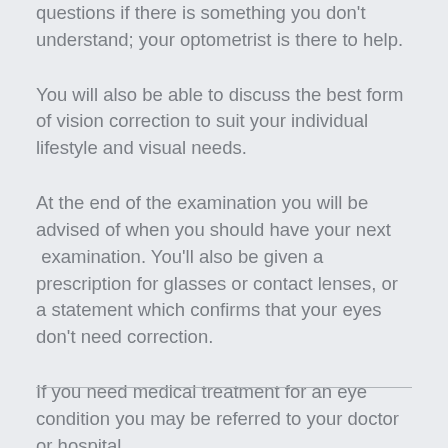questions if there is something you don't understand; your optometrist is there to help.
You will also be able to discuss the best form of vision correction to suit your individual lifestyle and visual needs.
At the end of the examination you will be advised of when you should have your next  examination. You'll also be given a prescription for glasses or contact lenses, or a statement which confirms that your eyes don't need correction.
If you need medical treatment for an eye condition you may be referred to your doctor or hospital.